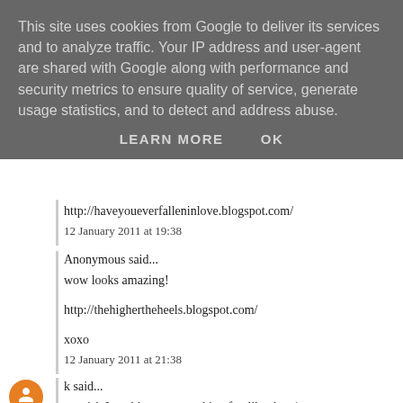This site uses cookies from Google to deliver its services and to analyze traffic. Your IP address and user-agent are shared with Google along with performance and security metrics to ensure quality of service, generate usage statistics, and to detect and address abuse.
LEARN MORE   OK
http://haveyoueverfalleninlove.blogspot.com/
12 January 2011 at 19:38
Anonymous said...
wow looks amazing!
http://thehighertheheels.blogspot.com/
xoxo
12 January 2011 at 21:38
k said...
so wish I could go to something fun like that :)
12 January 2011 at 21:42
Blicious said...